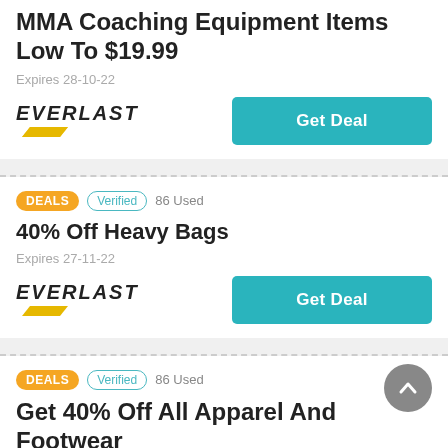MMA Coaching Equipment Items Low To $19.99
Expires 28-10-22
[Figure (logo): Everlast brand logo with yellow swoosh]
Get Deal
DEALS   Verified   86 Used
40% Off Heavy Bags
Expires 27-11-22
[Figure (logo): Everlast brand logo with yellow swoosh]
Get Deal
DEALS   Verified   86 Used
Get 40% Off All Apparel And Footwear